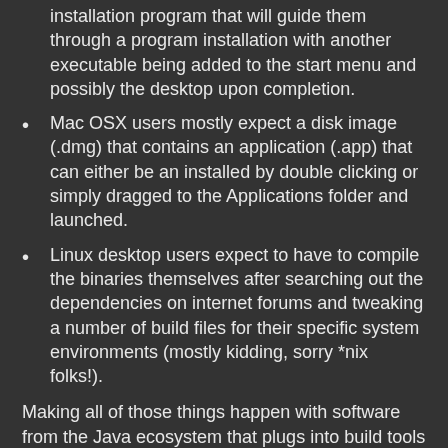installer that can be double clicked to start an installation program that will guide them through a program installation with another executable being added to the start menu and possibly the desktop upon completion.
Mac OSX users mostly expect a disk image (.dmg) that contains an application (.app) that can either be an installed by double clicking or simply dragged to the Applications folder and launched.
Linux desktop users expect to have to compile the binaries themselves after searching out the dependencies on internet forums and tweaking a number of build files for their specific system environments (mostly kidding, sorry *nix folks!).
Making all of those things happen with software from the Java ecosystem that plugs into build tools is unfortunately like assembling a tiny ship in a bottle.  It can be done but you'll probably be old and angry when it's finished (or older and angrier in the case of us already old people).  Anyway, I think I have most of those dogs licked (or however that goes) but I want to get all of the installers tested at least once